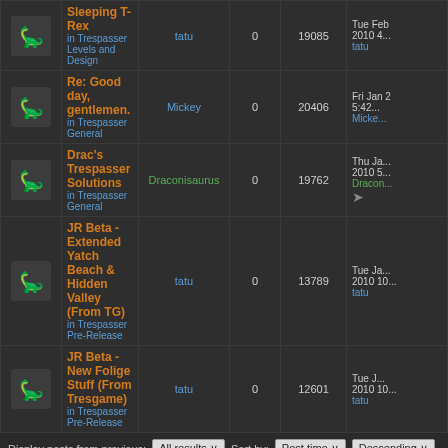|  | Topic | Author | Replies | Views | Last post |
| --- | --- | --- | --- | --- | --- |
| [icon] | Sleeping T-Rex
in Trespasser Levels and Design | tatu | 0 | 19085 | Tue Feb ... 2010 4... tatu |
| [icon] | Re: Good day, gentlemen.
in Trespasser General | Mickey | 0 | 20406 | Fri Jan 2 5:42... Micke... |
| [icon] | Drac's Trespasser Solutions
in Trespasser General | Draconisaurus | 0 | 19762 | Thu Ja... 2010 5... Dracon... |
| [icon] | JR Beta - Extended Yatch Beach & Hidden Valley (From TG)
in Trespasser Pre-Release | tatu | 0 | 13789 | Tue Ja... 2010 10... tatu |
| [icon] | JR Beta - New Folige Stuff (From Tresgame)
in Trespasser Pre-Release | tatu | 0 | 12601 | Tue J... 2010 10... tatu |
Display posts from previous: All results  Sort by: Post time  Descending
Page 1 of 5 [ Search found 246 matches ]  Go to page 1, 2, 3, 4, 5  Next
Board index  All times are UTC
Jump to: Select a forum  Go
Powered by phpBB® Forum Software © phpBB Group